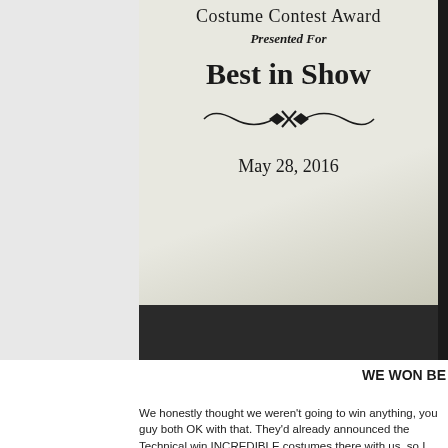[Figure (photo): A close-up photograph of a plaque reading 'Costume Contest Award, Presented For, Best in Show, May 28, 2016' with a decorative flourish divider. The plaque appears light-colored (cream/silver) on a dark background with a dark base.]
WE WON BE
We honestly thought we weren't going to win anything, you guy both OK with that. They'd already announced the Technical win INCREDIBLE costumes there with us, so I figured, hey, at leas the stage again!